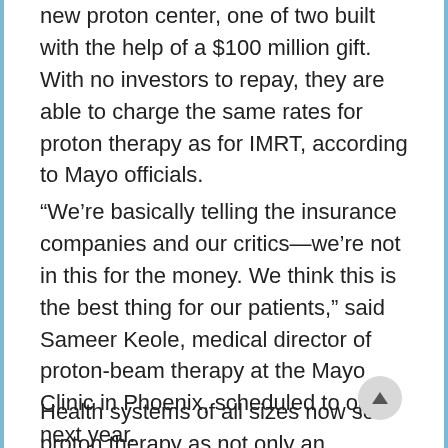new proton center, one of two built with the help of a $100 million gift. With no investors to repay, they are able to charge the same rates for proton therapy as for IMRT, according to Mayo officials.
“We’re basically telling the insurance companies and our critics—we’re not in this for the money. We think this is the best thing for our patients,” said Sameer Keole, medical director of proton-beam therapy at the Mayo Clinic in Phoenix, scheduled to open next year.
Health systems of all sizes now see proton therapy as not only an attractive option for